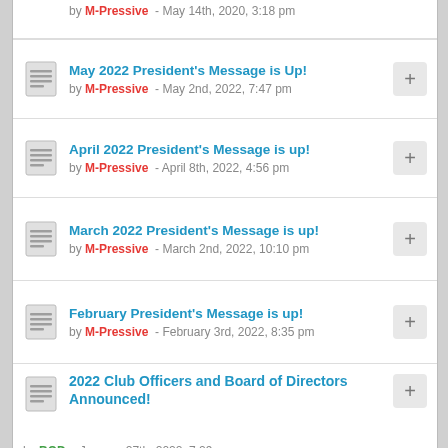by M-Pressive - May 14th, 2020, 3:18 pm
May 2022 President's Message is Up! by M-Pressive - May 2nd, 2022, 7:47 pm
April 2022 President's Message is up! by M-Pressive - April 8th, 2022, 4:56 pm
March 2022 President's Message is up! by M-Pressive - March 2nd, 2022, 10:10 pm
February President's Message is up! by M-Pressive - February 3rd, 2022, 8:35 pm
2022 Club Officers and Board of Directors Announced! by BOD - January 27th, 2022, 7:29 pm
Announcing the 2022 Chrysler 300M Enthusiasts